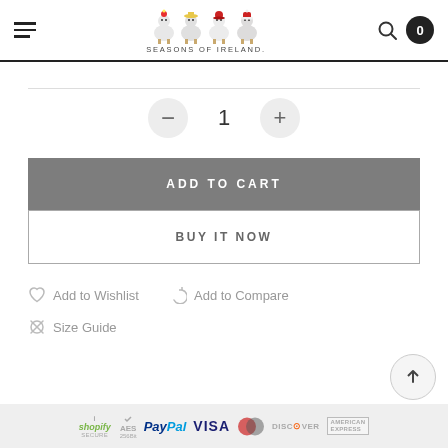[Figure (logo): Seasons of Ireland logo with four illustrated sheep characters representing seasons, and text SEASONS OF IRELAND below]
[Figure (other): Quantity selector with minus button, value 1, and plus button]
ADD TO CART
BUY IT NOW
Add to Wishlist
Add to Compare
Size Guide
[Figure (other): Payment badges: shopify SECURE, AES 256B, PayPal, VISA, MasterCard, DISCOVER, AMERICAN EXPRESS]